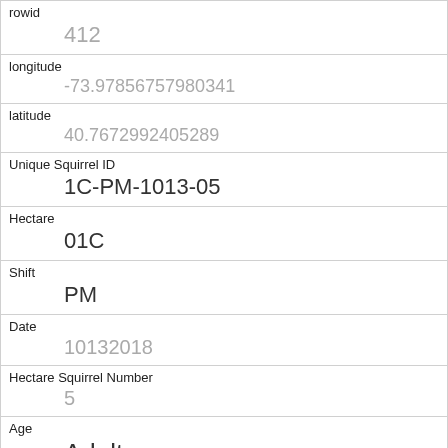| rowid | 412 |
| longitude | -73.97856757980341 |
| latitude | 40.7672992405289 |
| Unique Squirrel ID | 1C-PM-1013-05 |
| Hectare | 01C |
| Shift | PM |
| Date | 10132018 |
| Hectare Squirrel Number | 5 |
| Age | Adult |
| Primary Fur Color | Cinnamon |